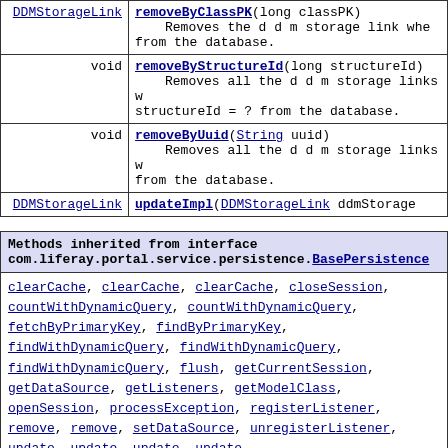| Type | Method and Description |
| --- | --- |
| DDMStorageLink | removeByClassPK(long classPK)
        Removes the d d m storage link wher... from the database. |
| void | removeByStructureId(long structureId)
        Removes all the d d m storage links w... structureId = ? from the database. |
| void | removeByUuid(String uuid)
        Removes all the d d m storage links w... from the database. |
| DDMStorageLink | updateImpl(DDMStorageLink ddmStorage... |
| Methods inherited from interface com.liferay.portal.service.persistence.BasePersistence |
| --- |
| clearCache, clearCache, clearCache, closeSession, countWithDynamicQuery, countWithDynamicQuery, fetchByPrimaryKey, findByPrimaryKey, findWithDynamicQuery, findWithDynamicQuery, findWithDynamicQuery, flush, getCurrentSession, getDataSource, getListeners, getModelClass, openSession, processException, registerListener, remove, remove, setDataSource, unregisterListener, update, update, update, update |